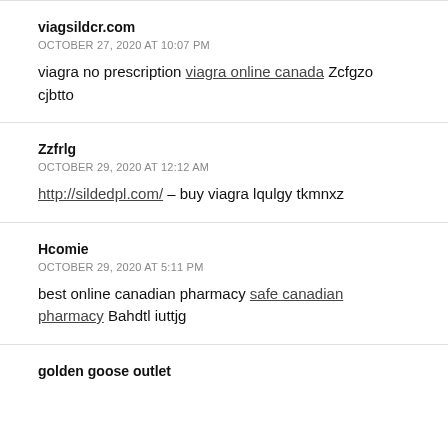viagsildcr.com
OCTOBER 27, 2020 AT 10:07 PM
viagra no prescription viagra online canada Zcfgzo cjbtto
Zzfrlg
OCTOBER 29, 2020 AT 12:12 AM
http://sildedpl.com/ – buy viagra lqulgy tkmnxz
Hcomie
OCTOBER 29, 2020 AT 5:11 PM
best online canadian pharmacy safe canadian pharmacy Bahdtl iuttjg
golden goose outlet